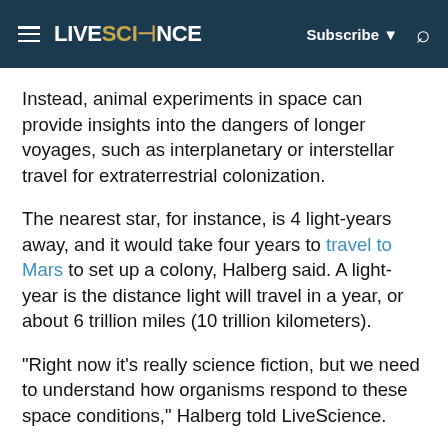LIVESCIENCE | Subscribe | Search
Instead, animal experiments in space can provide insights into the dangers of longer voyages, such as interplanetary or interstellar travel for extraterrestrial colonization.
The nearest star, for instance, is 4 light-years away, and it would take four years to travel to Mars to set up a colony, Halberg said. A light-year is the distance light will travel in a year, or about 6 trillion miles (10 trillion kilometers).
"Right now it's really science fiction, but we need to understand how organisms respond to these space conditions," Halberg told LiveScience.